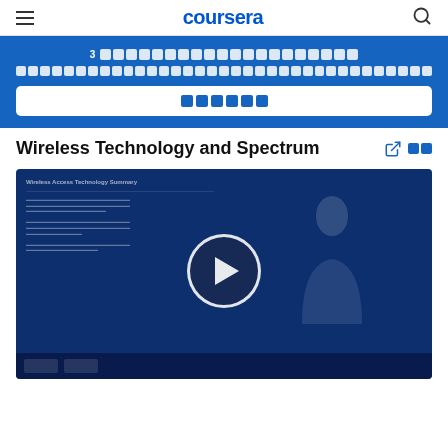coursera
3 ████████████████████
████████████████████████████████████
██████
Wireless Technology and Spectrum
[Figure (screenshot): Video thumbnail showing a lecture slide titled 'Wireless Access Technology Summary' with a presenter visible on the right side and a play button overlay in the center. The background is dark blue.]